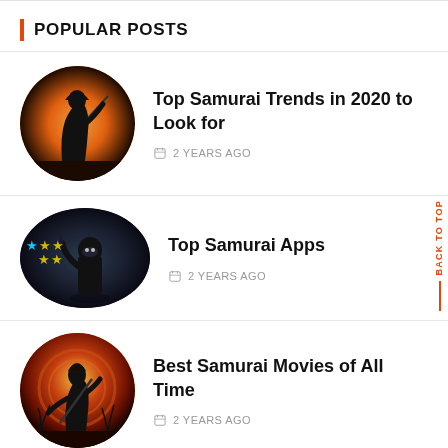POPULAR POSTS
Top Samurai Trends in 2020 to Look for — 2 YEARS AGO
Top Samurai Apps — 2 YEARS AGO
Best Samurai Movies of All Time — 2 YEARS AGO